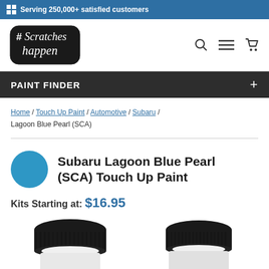Serving 250,000+ satisfied customers
[Figure (logo): #ScratchesHappen logo — handwritten script on black sticker-style badge]
[Figure (infographic): Search, hamburger menu, and cart icons in nav bar]
PAINT FINDER
Home / Touch Up Paint / Automotive / Subaru / Lagoon Blue Pearl (SCA)
Subaru Lagoon Blue Pearl (SCA) Touch Up Paint
Kits Starting at: $16.95
[Figure (photo): Two black-capped paint touch-up bottles (jars) partially visible at bottom of page]